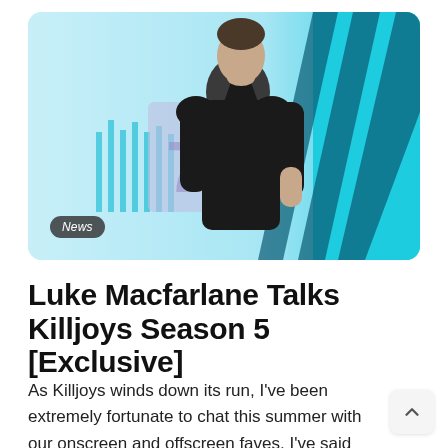[Figure (photo): A man in a black short-sleeve shirt stands against a futuristic light-blue background with teal diagonal stripes on the right side and blue graphic elements on the left. A 'News' badge is overlaid in the bottom-left corner of the image.]
Luke Macfarlane Talks Killjoys Season 5 [Exclusive]
As Killjoys winds down its run, I've been extremely fortunate to chat this summer with our onscreen and offscreen faves. I've said here a few times that